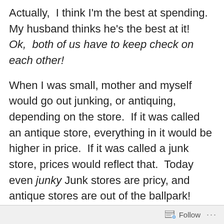Actually, I think I'm the best at spending. My husband thinks he's the best at it! Ok, both of us have to keep check on each other!
When I was small, mother and myself would go out junking, or antiquing, depending on the store. If it was called an antique store, everything in it would be higher in price. If it was called a junk store, prices would reflect that. Today even junky Junk stores are pricy, and antique stores are out of the ballpark! When it comes to reusing something, I'm the one in our household who loves taking something old, and repurposing it.
Many years ago, when I first got married, we didn't have a lot of money, so Mom and I would look everywhere for furniture that we could both fix up for my new home. Mom
Follow ...